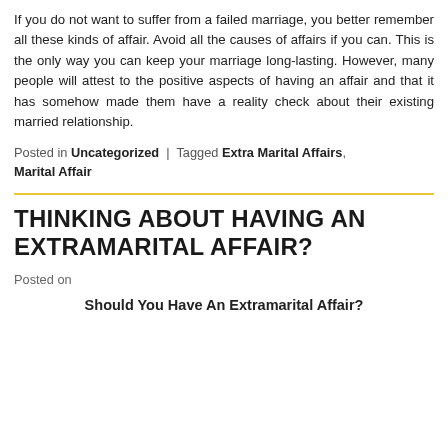If you do not want to suffer from a failed marriage, you better remember all these kinds of affair. Avoid all the causes of affairs if you can. This is the only way you can keep your marriage long-lasting. However, many people will attest to the positive aspects of having an affair and that it has somehow made them have a reality check about their existing married relationship.
Posted in Uncategorized | Tagged Extra Marital Affairs, Marital Affair
THINKING ABOUT HAVING AN EXTRAMARITAL AFFAIR?
Posted on
Should You Have An Extramarital Affair?